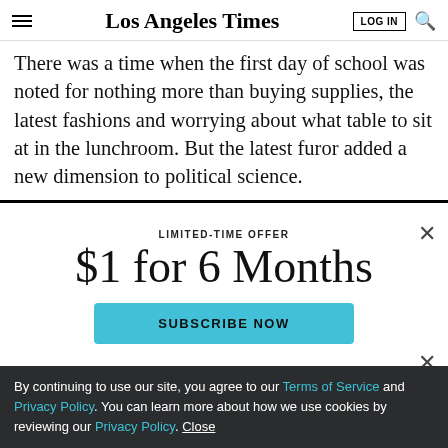Los Angeles Times — LOG IN
There was a time when the first day of school was noted for nothing more than buying supplies, the latest fashions and worrying about what table to sit at in the lunchroom. But the latest furor added a new dimension to political science.
LIMITED-TIME OFFER
$1 for 6 Months
SUBSCRIBE NOW
By continuing to use our site, you agree to our Terms of Service and Privacy Policy. You can learn more about how we use cookies by reviewing our Privacy Policy. Close